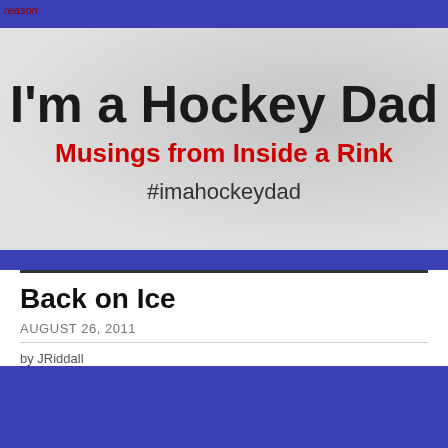reason
[Figure (screenshot): Blog header banner with light gray background showing blog title 'I'm a Hockey Dad', subtitle 'Musings from Inside a Rink' in red, and hashtag '#imahockeydad']
I'm a Hockey Dad
Musings from Inside a Rink
#imahockeydad
Back on Ice
AUGUST 26, 2011
by JRiddall